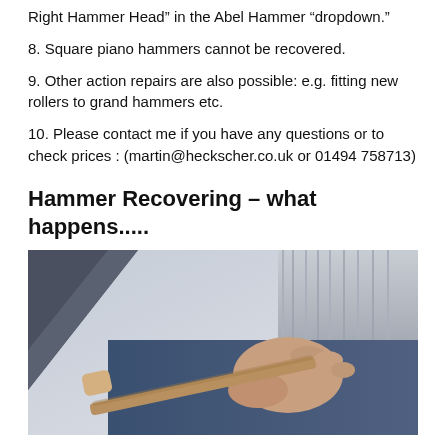Right Hammer Head” in the Abel Hammer “dropdown.”
8. Square piano hammers cannot be recovered.
9. Other action repairs are also possible: e.g. fitting new rollers to grand hammers etc.
10. Please contact me if you have any questions or to check prices : (martin@heckscher.co.uk or 01494 758713)
Hammer Recovering – what happens.....
[Figure (photo): A person’s hand holding a piano hammer against a piano action component, working on hammer recovering.]